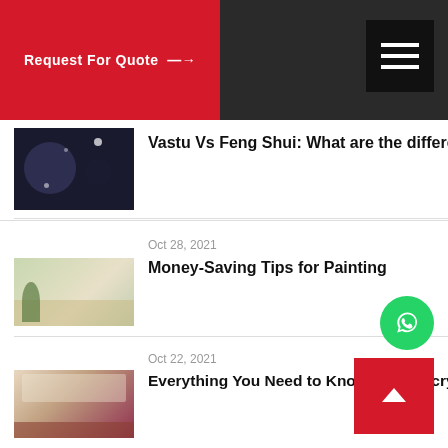Request For Quote →
[Figure (screenshot): Thumbnail image for Vastu Vs Feng Shui article - dark background with decorative elements]
Vastu Vs Feng Shui: What are the differences?
Oct 28, 2021
[Figure (screenshot): Thumbnail image for Money-Saving Tips for Painting article - living room interior]
Money-Saving Tips for Painting
Oct 22, 2021
[Figure (screenshot): Thumbnail image for Acrylic vs PVC Laminates article - kitchen interior]
Everything You Need to Know About Acrylic vs PVC Laminates